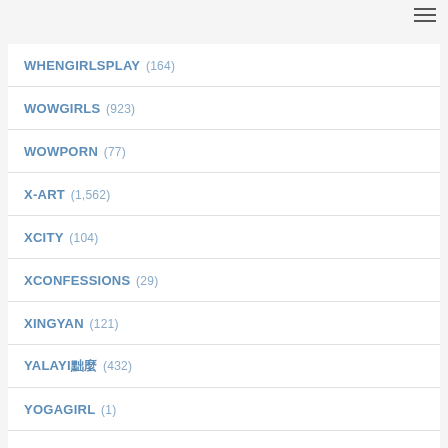WHENGIRLSPLAY (164)
WOWGIRLS (923)
WOWPORN (77)
X-ART (1,562)
XCITY (104)
XCONFESSIONS (29)
XINGYAN (121)
YALAYI東洋 (432)
YOGAGIRL (1)
YONITALE (1,365)
YOUMEI (10)
ZEMANI (1,388)
ZISHY (869)
한국야동 1화6?1 3화끝까지 [완전] (1)
한국야동 2화17분끝] (1)